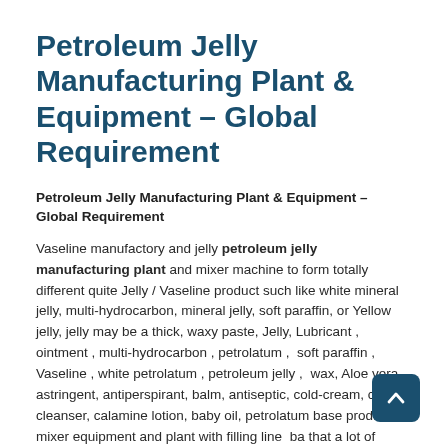Petroleum Jelly Manufacturing Plant & Equipment – Global Requirement
Petroleum Jelly Manufacturing Plant & Equipment – Global Requirement
Vaseline manufactory and jelly petroleum jelly manufacturing plant and mixer machine to form totally different quite Jelly / Vaseline product such like white mineral jelly, multi-hydrocarbon, mineral jelly, soft paraffin, or Yellow jelly, jelly may be a thick, waxy paste, Jelly, Lubricant , ointment , multi-hydrocarbon , petrolatum ,  soft paraffin , Vaseline , white petrolatum , petroleum jelly ,  wax, Aloe vera, astringent, antiperspirant, balm, antiseptic, cold-cream, cream, cleanser, calamine lotion, baby oil, petrolatum base product mixer equipment and plant with filling line  ba that a lot of peoples use as a skincare product and treatment for minor cuts and burns. jelly the right